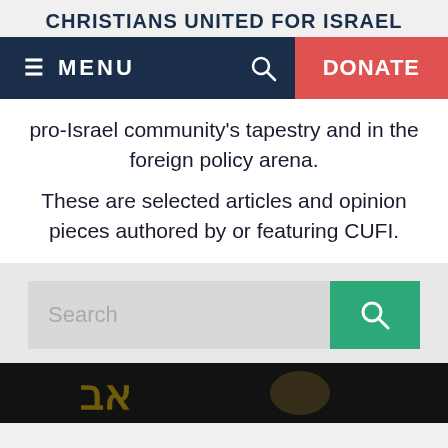CHRISTIANS UNITED FOR ISRAEL
[Figure (screenshot): Navigation bar with dark navy background showing hamburger menu icon and MENU text on left, search icon and red DONATE button on right]
pro-Israel community's tapestry and in the foreign policy arena.
These are selected articles and opinion pieces authored by or featuring CUFI.
[Figure (screenshot): Search bar with light gray input field showing placeholder text 'Search' and a teal/green search button with magnifying glass icon on the right]
[Figure (photo): Bottom strip showing a partial photo with dark background and gold/yellow text or decorative elements visible]